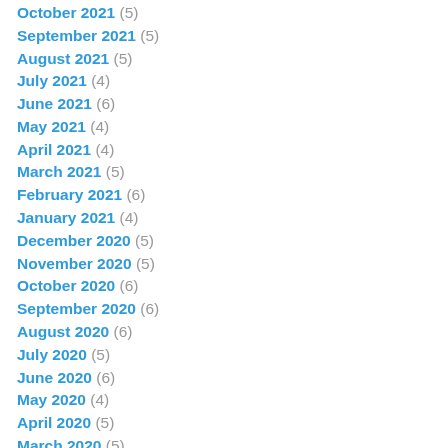October 2021 (5)
September 2021 (5)
August 2021 (5)
July 2021 (4)
June 2021 (6)
May 2021 (4)
April 2021 (4)
March 2021 (5)
February 2021 (6)
January 2021 (4)
December 2020 (5)
November 2020 (5)
October 2020 (6)
September 2020 (6)
August 2020 (6)
July 2020 (5)
June 2020 (6)
May 2020 (4)
April 2020 (5)
March 2020 (5)